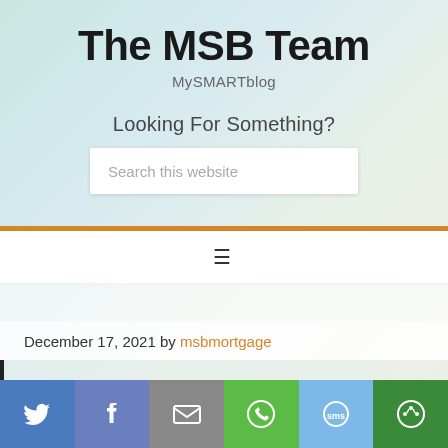The MSB Team
MySMARTblog
Looking For Something?
Search this website
December 17, 2021 by msbmortgage
Social share bar: Twitter, Facebook, Email, WhatsApp, SMS, Other